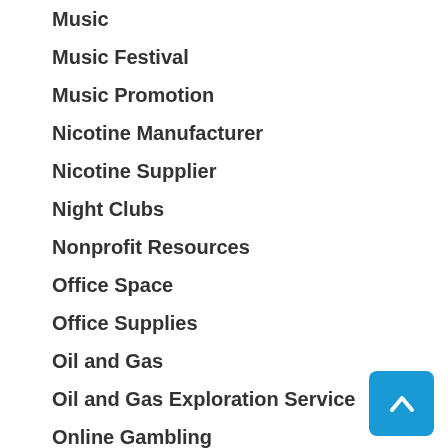Music
Music Festival
Music Promotion
Nicotine Manufacturer
Nicotine Supplier
Night Clubs
Nonprofit Resources
Office Space
Office Supplies
Oil and Gas
Oil and Gas Exploration Service
Online Gambling
Online Gaming
Online Shopping
Packing
Painter
Painting